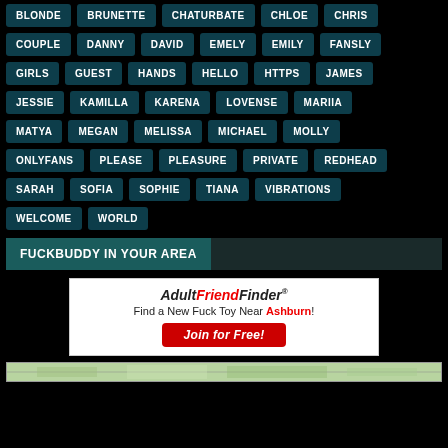BLONDE, BRUNETTE, CHATURBATE, CHLOE, CHRIS, COUPLE, DANNY, DAVID, EMELY, EMILY, FANSLY, GIRLS, GUEST, HANDS, HELLO, HTTPS, JAMES, JESSIE, KAMILLA, KARENA, LOVENSE, MARIIA, MATYA, MEGAN, MELISSA, MICHAEL, MOLLY, ONLYFANS, PLEASE, PLEASURE, PRIVATE, REDHEAD, SARAH, SOFIA, SOPHIE, TIANA, VIBRATIONS, WELCOME, WORLD
FUCKBUDDY IN YOUR AREA
[Figure (infographic): AdultFriendFinder advertisement with logo, tagline 'Find a New Fuck Toy Near Ashburn!' and 'Join for Free!' button]
[Figure (map): Map strip at bottom of page]